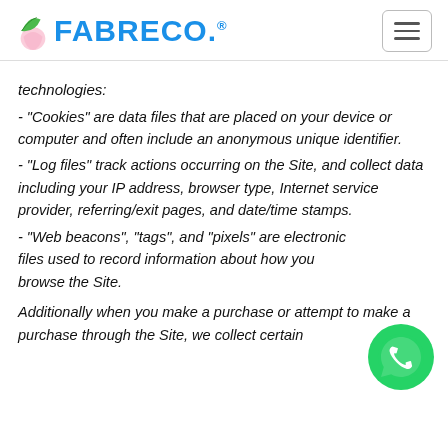FABRECO.
technologies:
- “Cookies” are data files that are placed on your device or computer and often include an anonymous unique identifier.
- “Log files” track actions occurring on the Site, and collect data including your IP address, browser type, Internet service provider, referring/exit pages, and date/time stamps.
- “Web beacons”, “tags”, and “pixels” are electronic files used to record information about how you browse the Site.
[Figure (logo): WhatsApp green circle icon with white phone handset]
Additionally when you make a purchase or attempt to make a purchase through the Site, we collect certain